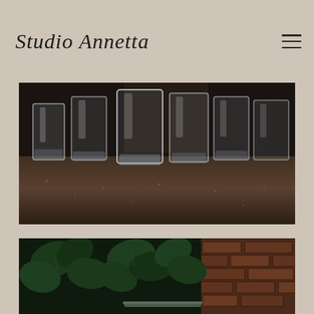Studio Annetta
[Figure (photo): Close-up photograph of multiple clear glass tumblers arranged on a dark speckled stone/granite surface, viewed from a low angle. The glasses are transparent with faceted bottoms.]
[Figure (photo): Photograph of lush dark green ivy or climbing plant leaves against a weathered brick wall, with what appears to be a metal railing or handle visible at the bottom.]